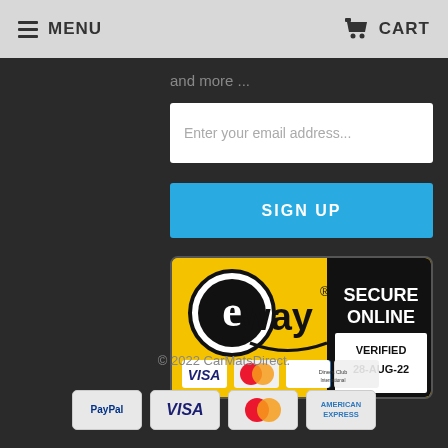MENU | CART
and more ...
Enter your email address...
SIGN UP
[Figure (logo): eWay Secure Online Verified 28-AUG-22 badge with Visa, MasterCard, American Express, Diners Club logos]
© 2022 CarMatsDirect.
[Figure (logo): Payment icons: PayPal, VISA, MasterCard, American Express]